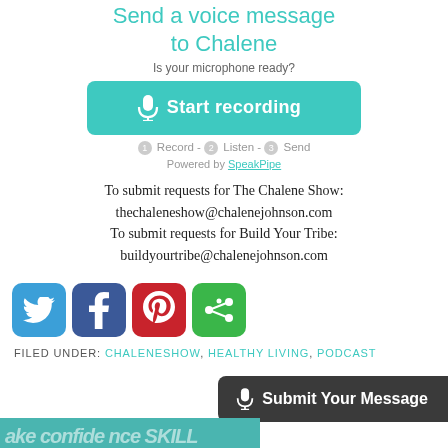Send a voice message to Chalene
Is your microphone ready?
[Figure (screenshot): Green 'Start recording' button with microphone icon]
1 Record - 2 Listen - 3 Send
Powered by SpeakPipe
To submit requests for The Chalene Show: thechaleneshow@chalenejohnson.com To submit requests for Build Your Tribe: buildyourtribe@chalenejohnson.com
[Figure (infographic): Social media share icons: Twitter, Facebook, Pinterest, and a green share button]
FILED UNDER: CHALENESHOW, HEALTHY LIVING, PODCAST
[Figure (screenshot): Dark grey 'Submit Your Message' button with microphone icon at bottom right]
[Figure (other): Teal bottom banner with partially visible italic text]